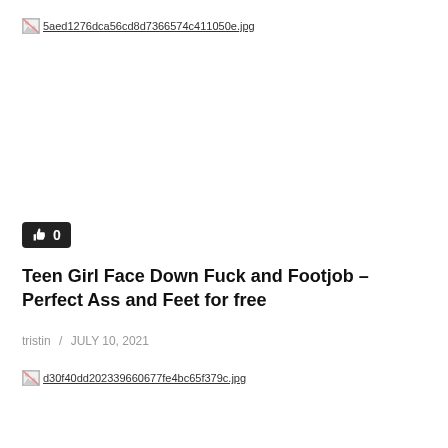[Figure (photo): Broken image placeholder linking to 5aed1276dca56cd8d7366574c411050e.jpg]
[Figure (other): Like button with thumbs up icon and count 0]
Teen Girl Face Down Fuck and Footjob – Perfect Ass and Feet for free
tristin / JULY 10, 2021
[Figure (photo): Broken image placeholder linking to d30f40dd202339660677fe4bc65f379c.jpg]